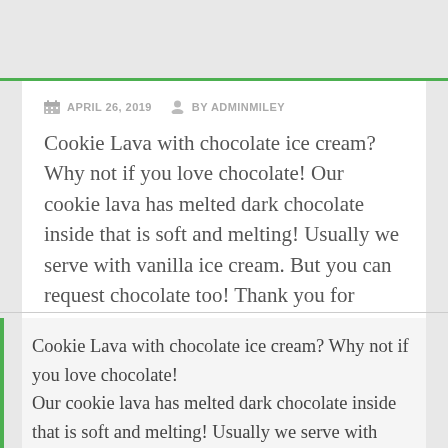APRIL 26, 2019  BY ADMINMILEY
Cookie Lava with chocolate ice cream? Why not if you love chocolate! Our cookie lava has melted dark chocolate inside that is soft and melting! Usually we serve with vanilla ice cream. But you can request chocolate too! Thank you for sharing @elisakhairanic
Cookie Lava with chocolate ice cream? Why not if you love chocolate!
Our cookie lava has melted dark chocolate inside that is soft and melting! Usually we serve with vanilla ice cream. But you can request chocolate too!
Thank you for sharing @elisakhairanic
#mileycookielava #mileydesserts #mileycookie